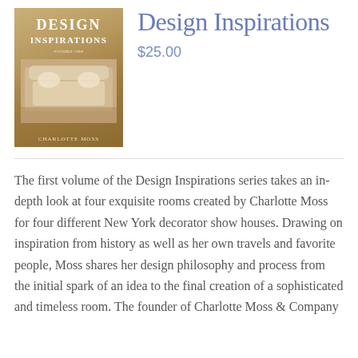[Figure (photo): Book cover of 'Design Inspirations' showing a luxurious bedroom with ornate decor in warm golden tones, with text 'DESIGN INSPIRATIONS' and author name 'Charlotte Moss' at the bottom.]
Design Inspirations
$25.00
The first volume of the Design Inspirations series takes an in-depth look at four exquisite rooms created by Charlotte Moss for four different New York decorator show houses. Drawing on inspiration from history as well as her own travels and favorite people, Moss shares her design philosophy and process from the initial spark of an idea to the final creation of a sophisticated and timeless room. The founder of Charlotte Moss & Company